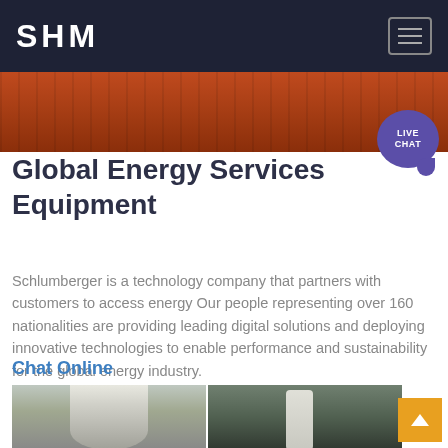SHM
[Figure (photo): Industrial equipment photo strip showing orange machinery]
Global Energy Services Equipment
Schlumberger is a technology company that partners with customers to access energy Our people representing over 160 nationalities are providing leading digital solutions and deploying innovative technologies to enable performance and sustainability for the global energy industry.
Chat Online
[Figure (photo): Two industrial facility photos side by side showing equipment and piping]